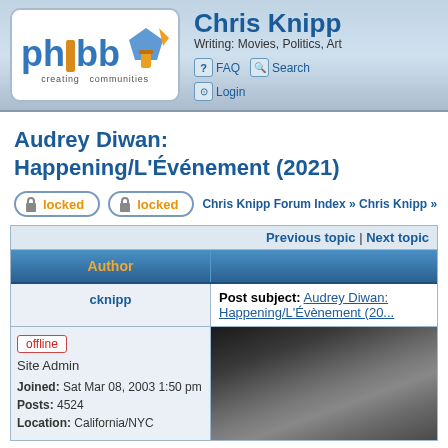phpbb creating communities — Chris Knipp — Writing: Movies, Politics, Art — FAQ | Search | Login
Audrey Diwan: Happening/L'Événement (2021)
locked locked Chris Knipp Forum Index » Chris Knipp »
| Author |  |
| --- | --- |
| Previous topic | Next topic |  |
| cknipp | Post subject: Audrey Diwan: Happening/L'Événement (20... |
| offline
Site Admin
Joined: Sat Mar 08, 2003 1:50 pm
Posts: 4524
Location: California/NYC | [image] |